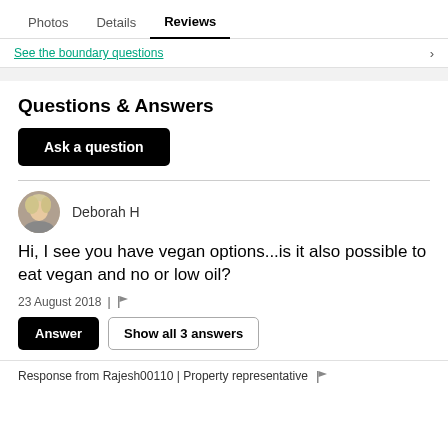Photos   Details   Reviews
See the boundary questions
Questions & Answers
Ask a question
Deborah H
Hi, I see you have vegan options...is it also possible to eat vegan and no or low oil?
23 August 2018 |
Answer   Show all 3 answers
Response from Rajesh00110 | Property representative |